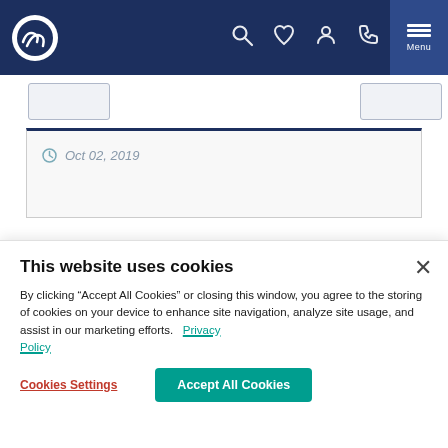Navigation bar with logo, search, favorites, account, phone, and menu icons
[Figure (screenshot): Website navigation bar with dark navy background, circular logo on left, icons (search, heart, user, phone) on right, and a menu button]
Oct 02, 2019
This website uses cookies
By clicking “Accept All Cookies” or closing this window, you agree to the storing of cookies on your device to enhance site navigation, analyze site usage, and assist in our marketing efforts. Privacy Policy
Cookies Settings
Accept All Cookies